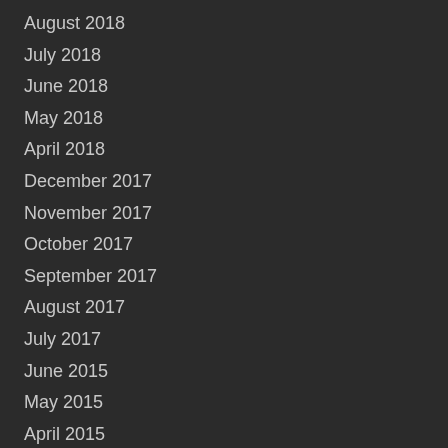August 2018
July 2018
June 2018
May 2018
April 2018
December 2017
November 2017
October 2017
September 2017
August 2017
July 2017
June 2015
May 2015
April 2015
March 2015